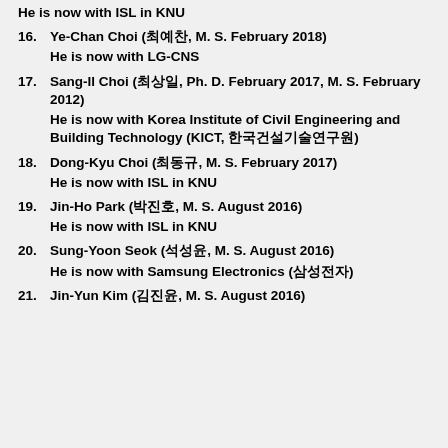He is now with ISL in KNU
16. Ye-Chan Choi (최예찬, M. S. February 2018)

He is now with LG-CNS
17. Sang-Il Choi (최상일, Ph. D. February 2017, M. S. February 2012)

He is now with Korea Institute of Civil Engineering and Building Technology (KICT, 한국건설기술연구원)
18. Dong-Kyu Choi (최동규, M. S. February 2017)

He is now with ISL in KNU
19. Jin-Ho Park (박진호, M. S. August 2016)

He is now with ISL in KNU
20. Sung-Yoon Seok (석성윤, M. S. August 2016)

He is now with Samsung Electronics (삼성전자)
21. Jin-Yun Kim (김진윤, M. S. August 2016)